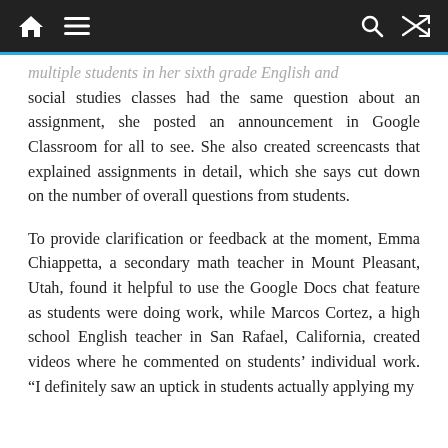Navigation bar with home, menu, search, and shuffle icons
multiple students in her sixth grade English and social studies classes had the same question about an assignment, she posted an announcement in Google Classroom for all to see. She also created screencasts that explained assignments in detail, which she says cut down on the number of overall questions from students.
To provide clarification or feedback at the moment, Emma Chiappetta, a secondary math teacher in Mount Pleasant, Utah, found it helpful to use the Google Docs chat feature as students were doing work, while Marcos Cortez, a high school English teacher in San Rafael, California, created videos where he commented on students’ individual work. “I definitely saw an uptick in students actually applying my